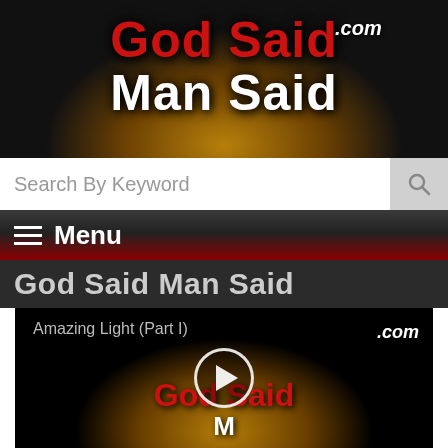[Figure (screenshot): GodSaidManSaid.com website header banner with red and white bold text on dark background with golden glow]
Search By Keyword
≡  Menu
God Said Man Said
[Figure (screenshot): Video thumbnail for 'Amazing Light (Part I)' showing GodSaidManSaid.com logo with play button overlay on dark background]